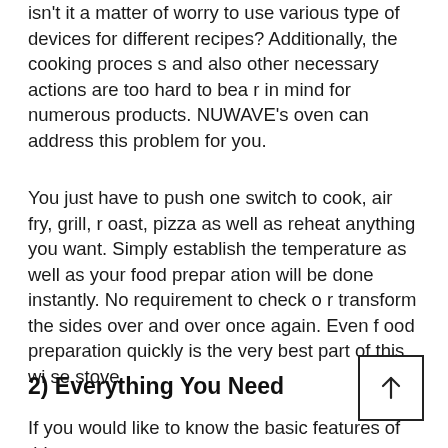isn't it a matter of worry to use various type of devices for different recipes? Additionally, the cooking process and also other necessary actions are too hard to bear in mind for numerous products. NUWAVE's oven can address this problem for you.
You just have to push one switch to cook, air fry, grill, roast, pizza as well as reheat anything you want. Simply establish the temperature as well as your food preparation will be done instantly. No requirement to check or transform the sides over and over once again. Even food preparation quickly is the very best part of this wise stove.
2) Everything You Need
If you would like to know the basic features of this stov